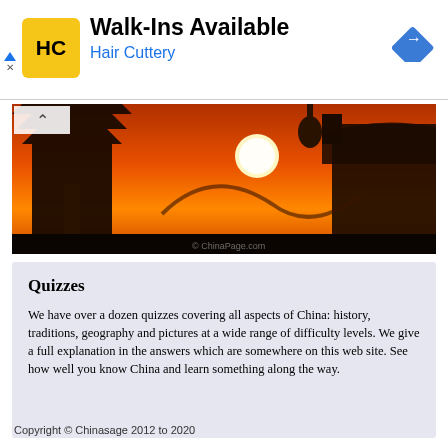[Figure (infographic): Hair Cuttery advertisement banner with yellow HC logo, Walk-Ins Available text, blue navigation diamond icon]
[Figure (photo): Chinese pagoda and temple architecture silhouetted against an orange sunset sky with sun visible]
Quizzes
We have over a dozen quizzes covering all aspects of China: history, traditions, geography and pictures at a wide range of difficulty levels. We give a full explanation in the answers which are somewhere on this web site. See how well you know China and learn something along the way.
Copyright © Chinasage 2012 to 2020